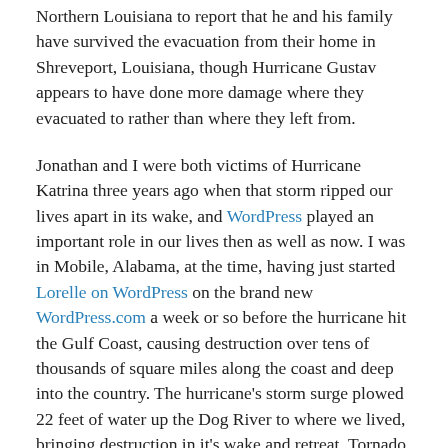Northern Louisiana to report that he and his family have survived the evacuation from their home in Shreveport, Louisiana, though Hurricane Gustav appears to have done more damage where they evacuated to rather than where they left from.
Jonathan and I were both victims of Hurricane Katrina three years ago when that storm ripped our lives apart in its wake, and WordPress played an important role in our lives then as well as now. I was in Mobile, Alabama, at the time, having just started Lorelle on WordPress on the brand new WordPress.com a week or so before the hurricane hit the Gulf Coast, causing destruction over tens of thousands of square miles along the coast and deep into the country. The hurricane's storm surge plowed 22 feet of water up the Dog River to where we lived, bringing destruction in it's wake and retreat. Tornado force winds